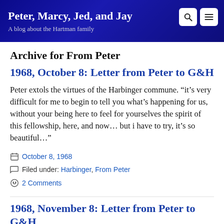Peter, Marcy, Jed, and Jay
A blog about the Hartman family
Archive for From Peter
1968, October 8: Letter from Peter to G&H
Peter extols the virtues of the Harbinger commune. “it’s very difficult for me to begin to tell you what’s happening for us, without your being here to feel for yourselves the spirit of this fellowship, here, and now… but i have to try, it’s so beautiful…”
October 8, 1968
Filed under: Harbinger, From Peter
2 Comments
1968, November 8: Letter from Peter to G&H